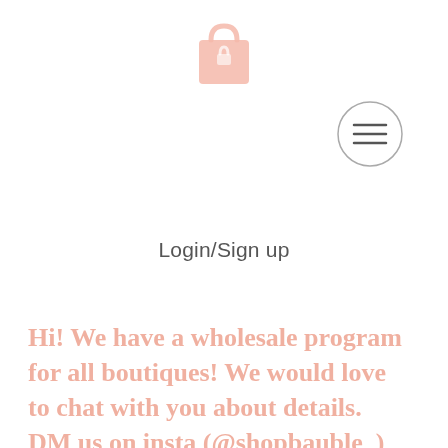[Figure (logo): Pink shopping bag icon with a small lock/tag symbol]
[Figure (illustration): Circular hamburger menu icon with three horizontal lines inside a circle]
Login/Sign up
Hi! We have a wholesale program for all boutiques! We would love to chat with you about details. DM us on insta (@shopbauble_) or email us at beadsandbaubleslookbook@gmail.com and we can help you!